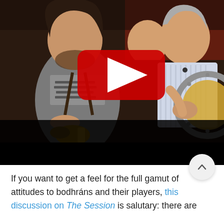[Figure (photo): YouTube video thumbnail showing musicians playing Irish traditional instruments including a bodhrán. A YouTube play button overlay (red circle with white triangle) is centered on the image. The scene shows multiple people in a pub or session setting.]
If you want to get a feel for the full gamut of attitudes to bodhráns and their players, this discussion on The Session is salutary: there are